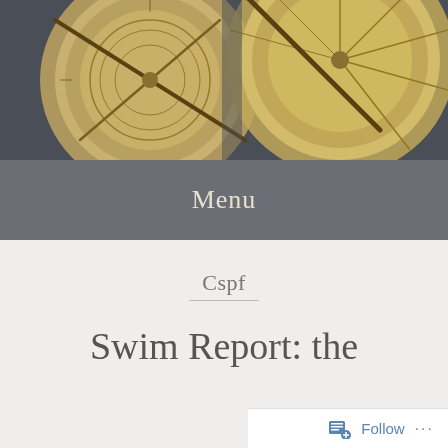[Figure (photo): Two brass/gold astrolabes on a dark gray background, cropped to show the upper portions. Left astrolabe is more complete with visible scales and pointer, right astrolabe shows geometric lines and markings.]
Menu
Cspf
Swim Report: the